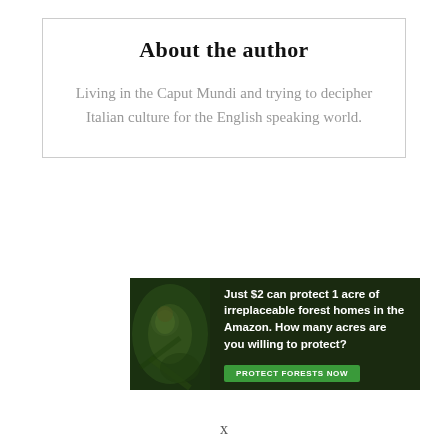About the author
Living in the Caput Mundi and trying to decipher Italian culture for the English speaking world.
[Figure (infographic): Advertisement banner for Amazon forest protection: dark green forest background with animal image on left side. Text reads: 'Just $2 can protect 1 acre of irreplaceable forest homes in the Amazon. How many acres are you willing to protect?' with a green 'PROTECT FORESTS NOW' button.]
x